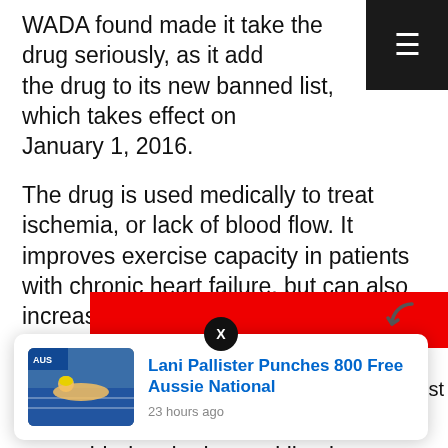WADA found made it take the drug seriously, as it added the drug to its new banned list, which takes effect on January 1, 2016.
The drug is used medically to treat ischemia, or lack of blood flow. It improves exercise capacity in patients with chronic heart failure, but can also increase exercise capacity in healthy athletes, giving them an unfair advantage in athletics.
The Guardian reports that Meldonium was added to the banned list due to “evidence of its use by athletes with the intention of enhancing performance.”
RUSADA, Russia’s anti-doping agency, sent out a memo
[Figure (screenshot): Popup notification card showing 'Lani Pallister Punches 800 Free Aussie National' with thumbnail image and timestamp '23 hours ago'. A close (X) button appears above the card. A red banner is partially visible behind the card.]